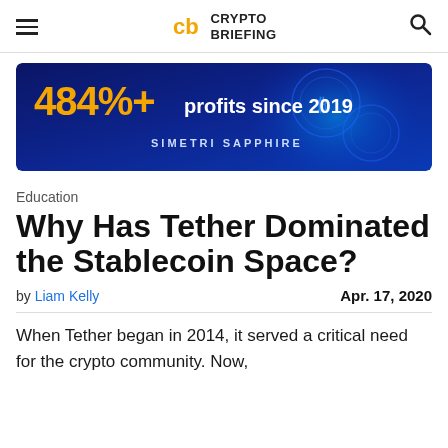CRYPTO BRIEFING
[Figure (infographic): Dark blue advertisement banner reading '484%+ profits since 2019' with 'SIMETRI SAPPHIRE' below and glowing crypto coins in background]
Education
Why Has Tether Dominated the Stablecoin Space?
by Liam Kelly   Apr. 17, 2020
When Tether began in 2014, it served a critical need for the crypto community. Now, after more than hav...